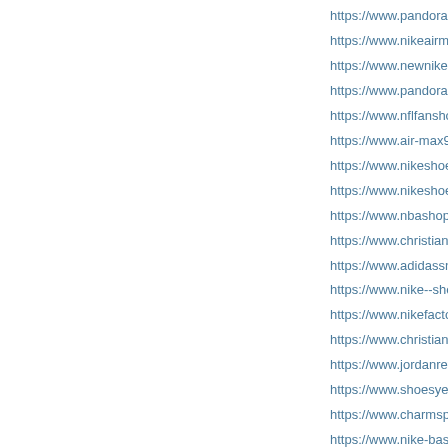https://www.pandoracanadajew...
https://www.nikeairmax720.us...
https://www.newnikeshoes.us.c...
https://www.pandoracharmsbr...
https://www.nflfanshop.us.com...
https://www.air-max95.us.com...
https://www.nikeshoesclearanc...
https://www.nikeshoes2019.us...
https://www.nbashop.us.org/ N...
https://www.christian-louboutin...
https://www.adidassneakers.us...
https://www.nike--shoes.us.com...
https://www.nikefactorys.us/ N...
https://www.christianlouboutin...
https://www.jordanretroshoes.u...
https://www.shoesyeezy.us.com...
https://www.charmspandora.us...
https://www.nike-basketballshe...
https://www.nike-outletstoreom...
https://www.nikeoutletstorecle...
https://www.asics-running-sho...
https://www.adidasoutletshoes...
https://www...